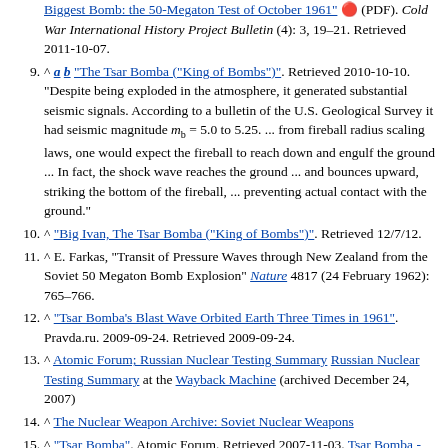(partial top) Biggest Bomb: the 50-Megaton Test of October 1961" (PDF). Cold War International History Project Bulletin (4): 3, 19–21. Retrieved 2011-10-07.
9. ^ a b "The Tsar Bomba ("King of Bombs")". Retrieved 2010-10-10. "Despite being exploded in the atmosphere, it generated substantial seismic signals. According to a bulletin of the U.S. Geological Survey it had seismic magnitude m_b = 5.0 to 5.25. ... from fireball radius scaling laws, one would expect the fireball to reach down and engulf the ground ... In fact, the shock wave reaches the ground ... and bounces upward, striking the bottom of the fireball, ... preventing actual contact with the ground."
10. ^ "Big Ivan, The Tsar Bomba ("King of Bombs")". Retrieved 12/7/12.
11. ^ E. Farkas, "Transit of Pressure Waves through New Zealand from the Soviet 50 Megaton Bomb Explosion" Nature 4817 (24 February 1962): 765–766.
12. ^ "Tsar Bomba's Blast Wave Orbited Earth Three Times in 1961". Pravda.ru. 2009-09-24. Retrieved 2009-09-24.
13. ^ Atomic Forum; Russian Nuclear Testing Summary Russian Nuclear Testing Summary at the Wayback Machine (archived December 24, 2007)
14. ^ The Nuclear Weapon Archive: Soviet Nuclear Weapons
15. ^ "Tsar Bomba". Atomic Forum. Retrieved 2007-11-03. Tsar Bomba - The King of Bombs at the Wayback Machine (archived January 4, 2007)
16. ^ GlobalSecurity.org: Mark 17
17. ^ "Trinity and Beyond: The Atomic Bomb Movie" Nu...